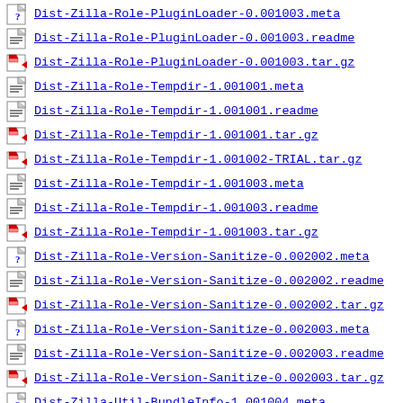Dist-Zilla-Role-PluginLoader-0.001003.meta
Dist-Zilla-Role-PluginLoader-0.001003.readme
Dist-Zilla-Role-PluginLoader-0.001003.tar.gz
Dist-Zilla-Role-Tempdir-1.001001.meta
Dist-Zilla-Role-Tempdir-1.001001.readme
Dist-Zilla-Role-Tempdir-1.001001.tar.gz
Dist-Zilla-Role-Tempdir-1.001002-TRIAL.tar.gz
Dist-Zilla-Role-Tempdir-1.001003.meta
Dist-Zilla-Role-Tempdir-1.001003.readme
Dist-Zilla-Role-Tempdir-1.001003.tar.gz
Dist-Zilla-Role-Version-Sanitize-0.002002.meta
Dist-Zilla-Role-Version-Sanitize-0.002002.readme
Dist-Zilla-Role-Version-Sanitize-0.002002.tar.gz
Dist-Zilla-Role-Version-Sanitize-0.002003.meta
Dist-Zilla-Role-Version-Sanitize-0.002003.readme
Dist-Zilla-Role-Version-Sanitize-0.002003.tar.gz
Dist-Zilla-Util-BundleInfo-1.001004.meta